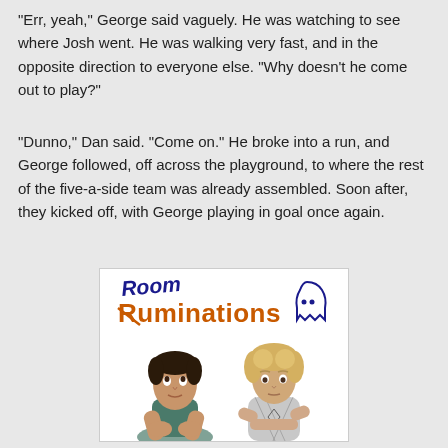“Err, yeah,” George said vaguely. He was watching to see where Josh went. He was walking very fast, and in the opposite direction to everyone else. “Why doesn’t he come out to play?”
“Dunno,” Dan said. “Come on.” He broke into a run, and George followed, off across the playground, to where the rest of the five-a-side team was already assembled. Soon after, they kicked off, with George playing in goal once again.
[Figure (illustration): Book or show cover for 'Room Ruminations' featuring a logo with handwritten 'Room' in blue and 'Ruminations' in orange block letters with a ghost outline, and two young males below: one dark-haired leaning on his hands looking upward, one blonde with arms crossed.]